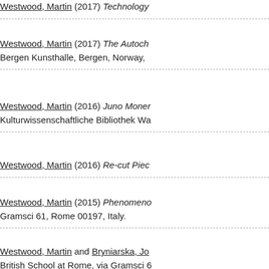Westwood, Martin (2017) Technology [truncated]. [dashed separator]
Westwood, Martin (2017) The Autoch[truncated]. Bergen Kunsthalle, Bergen, Norway, [truncated].
Westwood, Martin (2016) Juno Moner[truncated]. Kulturwissenschaftliche Bibliothek Wa[truncated].
Westwood, Martin (2016) Re-cut Piec[truncated].
Westwood, Martin (2015) Phenomeno[truncated]. Gramsci 61, Rome 00197, Italy.
Westwood, Martin and Bryniarska, Jo[truncated]. British School at Rome, via Gramsci 6[truncated].
Westwood, Martin (2015) The Noing M[truncated].